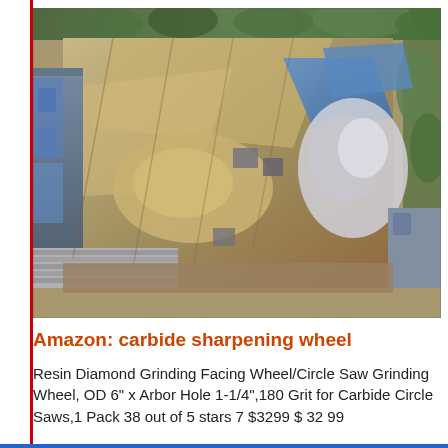[Figure (photo): Aerial/overhead view of what appears to be an industrial or construction yard, showing equipment, materials, sand/gravel piles, tarps, and surrounding buildings and trees viewed from above.]
Amazon: carbide sharpening wheel
Resin Diamond Grinding Facing Wheel/Circle Saw Grinding Wheel, OD 6" x Arbor Hole 1-1/4",180 Grit for Carbide Circle Saws,1 Pack 38 out of 5 stars 7 $3299 $ 32 99